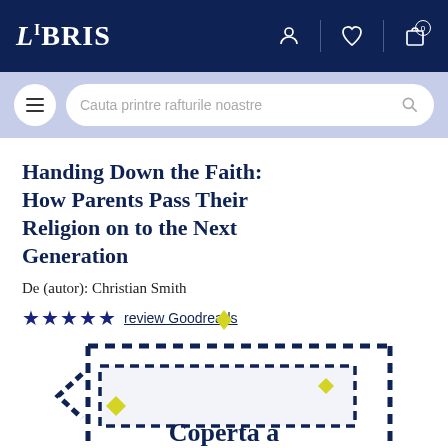LIBRIS
Cauta printre rafturile noastre
Handing Down the Faith: How Parents Pass Their Religion on to the Next Generation
De (autor): Christian Smith
★★★★★ review Goodreads
[Figure (illustration): Book cover placeholder with dashed border rectangle, navy blue dashes, yellow diamond shapes, and text 'Coperta a' visible at bottom]